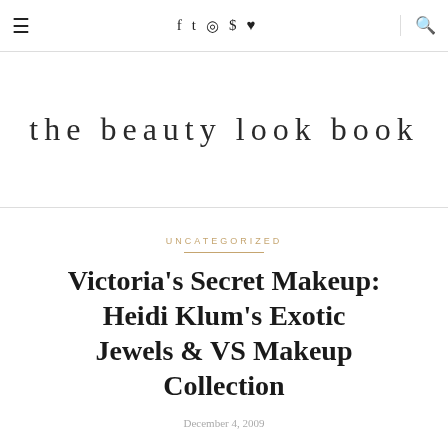≡  f  𝕥  ◎  𝕡  ♥  🔍
the beauty look book
UNCATEGORIZED
Victoria's Secret Makeup: Heidi Klum's Exotic Jewels & VS Makeup Collection
December 4, 2009